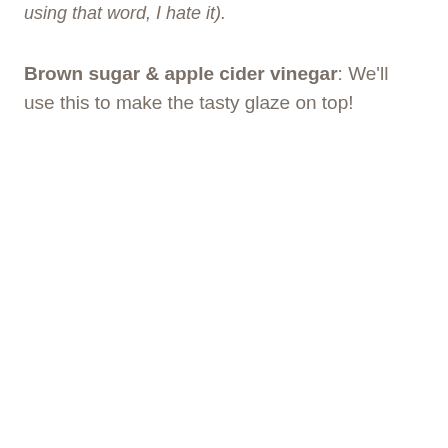using that word, I hate it).
Brown sugar & apple cider vinegar: We'll use this to make the tasty glaze on top!